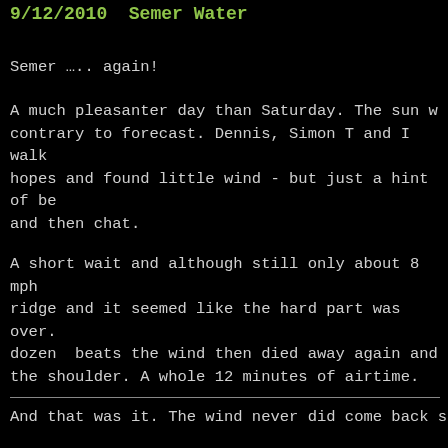9/12/2010  Semer Water
Semer ….. again!
A much pleasanter day than Saturday. The sun w contrary to forecast. Dennis, Simon T and I walk hopes and found little wind - but just a hint of be and then chat.
A short wait and although still only about 8 mph ridge and it seemed like the hard part was over. dozen  beats the wind then died away again and the shoulder. A whole 12 minutes of airtime.
And that was it. The wind never did come back s
Nice day to be out though and not really cold.